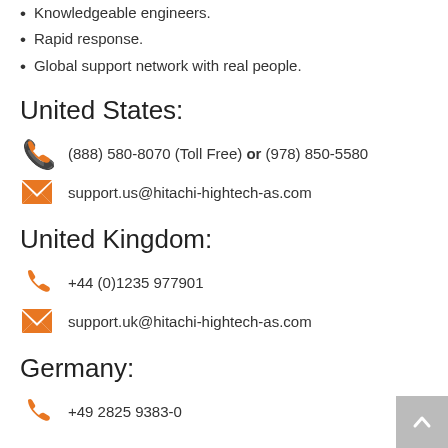Knowledgeable engineers.
Rapid response.
Global support network with real people.
United States:
(888) 580-8070 (Toll Free) or (978) 850-5580
support.us@hitachi-hightech-as.com
United Kingdom:
+44 (0)1235 977901
support.uk@hitachi-hightech-as.com
Germany:
+49 2825 9383-0